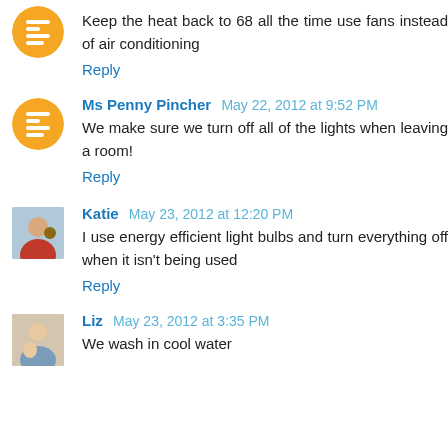Keep the heat back to 68 all the time use fans instead of air conditioning
Reply
Ms Penny Pincher May 22, 2012 at 9:52 PM
We make sure we turn off all of the lights when leaving a room!
Reply
Katie May 23, 2012 at 12:20 PM
I use energy efficient light bulbs and turn everything off when it isn't being used
Reply
Liz May 23, 2012 at 3:35 PM
We wash in cool water